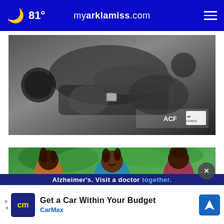81° myarklamiss.com
[Figure (photo): Black and white photo of a man playing guitar or musical instrument, with ACF and Ad Council logos in the lower right corner]
[Figure (photo): Three Black women sitting outdoors in a garden setting, smiling and talking. One woman in center wears a blue short-sleeve dress.]
[Figure (infographic): Advertisement banner: CarMax 'Get a Car Within Your Budget' ad with blue CarMax logo box, CarMax branding in blue text, and a blue navigation arrow icon on the right]
Alzheimer's. Visit a doctor together.